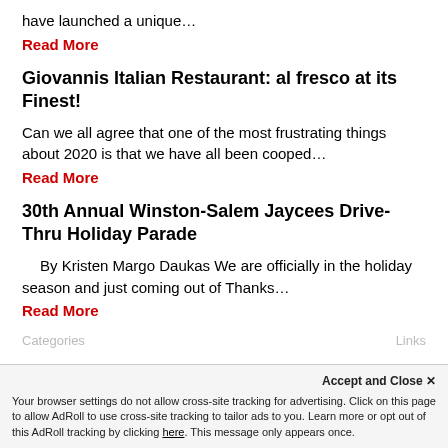have launched a unique…
Read More
Giovannis Italian Restaurant: al fresco at its Finest!
Can we all agree that one of the most frustrating things about 2020 is that we have all been cooped…
Read More
30th Annual Winston-Salem Jaycees Drive-Thru Holiday Parade
By Kristen Margo Daukas We are officially in the holiday season and just coming out of Thanks…
Read More
Accept and Close ✕
Your browser settings do not allow cross-site tracking for advertising. Click on this page to allow AdRoll to use cross-site tracking to tailor ads to you. Learn more or opt out of this AdRoll tracking by clicking here. This message only appears once.